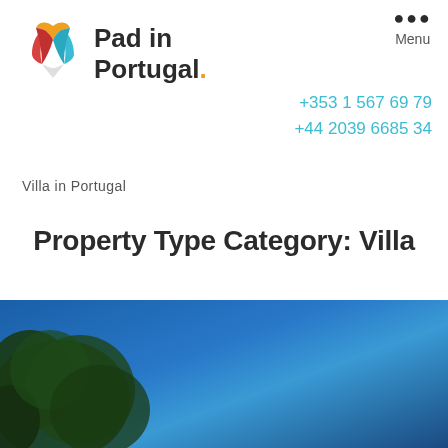[Figure (logo): Pad in Portugal logo with colorful geometric tulip/leaf shape icon in red, teal, orange colors, and bold text 'Pad in Portugal.' with orange dot]
Menu
+353 1 567 69 79
+44 2039 6685 34
Villa in Portugal
Property Type Category: Villa
[Figure (photo): Outdoor photo showing green trees against a bright blue sky, blurred/bokeh style]